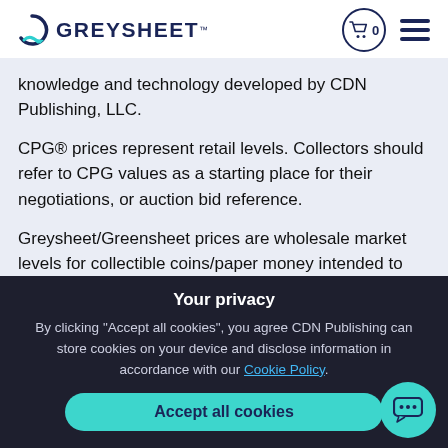GREYSHEET
knowledge and technology developed by CDN Publishing, LLC.
CPG® prices represent retail levels. Collectors should refer to CPG values as a starting place for their negotiations, or auction bid reference.
Greysheet/Greensheet prices are wholesale market levels for collectible coins/paper money intended to indicate what a dealer, or wholesale,
Your privacy
By clicking "Accept all cookies", you agree CDN Publishing can store cookies on your device and disclose information in accordance with our Cookie Policy.
Accept all cookies